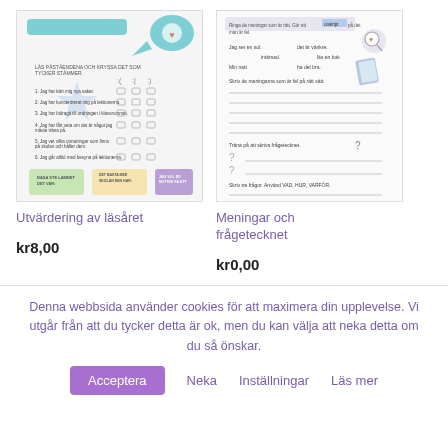[Figure (illustration): Thumbnail of a worksheet titled 'Utvärdering av läsåret' showing a checklist with stars and smiley faces]
Utvärdering av läsåret
kr8,00
[Figure (illustration): Thumbnail of a worksheet titled 'Meningar och frågetecknet' showing sentence exercises with question marks]
Meningar och frågetecknet
kr0,00
Denna webbsida använder cookies för att maximera din upplevelse. Vi utgår från att du tycker detta är ok, men du kan välja att neka detta om du så önskar.
Acceptera
Neka
Inställningar
Läs mer